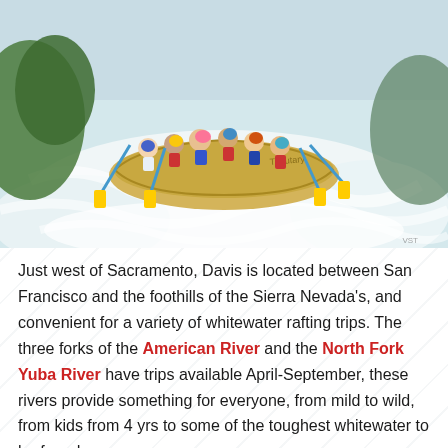[Figure (photo): Group of people whitewater rafting in an inflatable raft labeled 'Tributary', navigating through white water rapids on a sunny day. Paddlers wearing helmets and life vests.]
Just west of Sacramento, Davis is located between San Francisco and the foothills of the Sierra Nevada's, and convenient for a variety of whitewater rafting trips. The three forks of the American River and the North Fork Yuba River have trips available April-September, these rivers provide something for everyone, from mild to wild, from kids from 4 yrs to some of the toughest whitewater to be found.
PLANNING A RAFTING TRIP NEAR